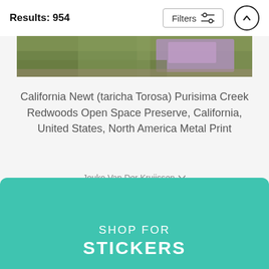Results: 954
[Figure (photo): Partial view of a nature photograph showing foliage and purple/violet plant elements]
California Newt (taricha Torosa) Purisima Creek Redwoods Open Space Preserve, California, United States, North America Metal Print
Jouko Van Der Kruijssen
$81
SHOP FOR STICKERS